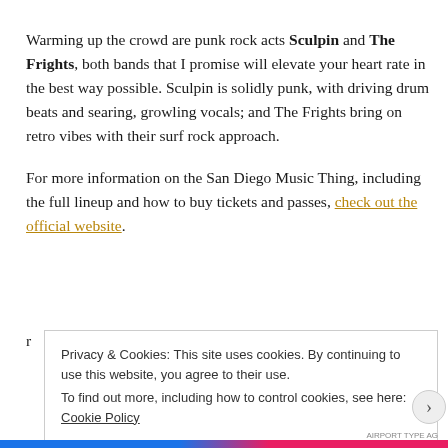Warming up the crowd are punk rock acts Sculpin and The Frights, both bands that I promise will elevate your heart rate in the best way possible. Sculpin is solidly punk, with driving drum beats and searing, growling vocals; and The Frights bring on retro vibes with their surf rock approach.
For more information on the San Diego Music Thing, including the full lineup and how to buy tickets and passes, check out the official website.
Privacy & Cookies: This site uses cookies. By continuing to use this website, you agree to their use. To find out more, including how to control cookies, see here: Cookie Policy
Close and accept